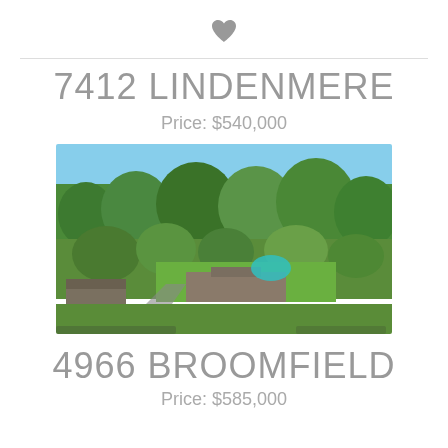[Figure (other): Heart/favorite icon (filled gray heart)]
7412 LINDENMERE
Price: $540,000
[Figure (photo): Aerial/drone photograph of a residential property at 7412 Lindenmere surrounded by dense green trees, with a house and a swimming pool visible, and a driveway]
4966 BROOMFIELD
Price: $585,000